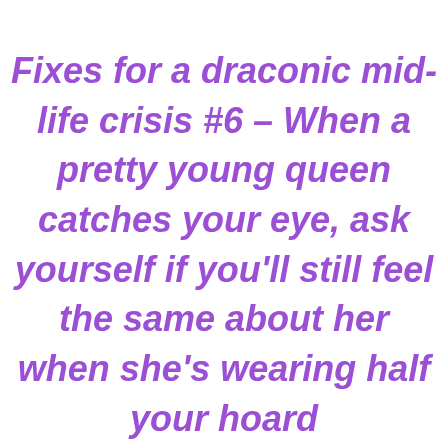Fixes for a draconic mid-life crisis #6 – When a pretty young queen catches your eye, ask yourself if you'll still feel the same about her when she's wearing half your hoard